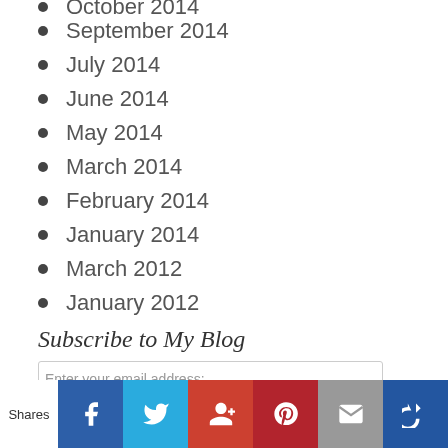October 2014 (partial, cut off at top)
September 2014
July 2014
June 2014
May 2014
March 2014
February 2014
January 2014
March 2012
January 2012
Subscribe to My Blog
Enter your email address: